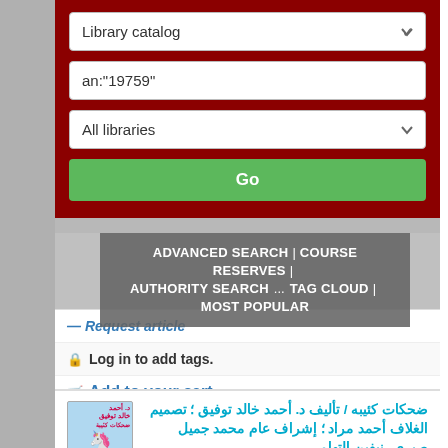[Figure (screenshot): Library catalog search interface with dark red background, input fields for Library catalog dropdown, search query an:"19759", All libraries dropdown, and a green Go button]
ADVANCED SEARCH | COURSE RESERVES | AUTHORITY SEARCH ... TAG CLOUD | MOST POPULAR
— Request article
Log in to add tags.
Add to your cart
Open Library:
ضحكات كئيبه / تأليف د. أحمد خالد توفيق ؛ تصميم الغلاف أحمد مراد ؛ إشراف عام محمد جميل صبري، نيفين التهامي.
توفيق، أحمد خالد، [مؤلف.] | مراد، أحمد، [مصمم.] | صبري، محمد جميل، [مشرف.] | التهامي...